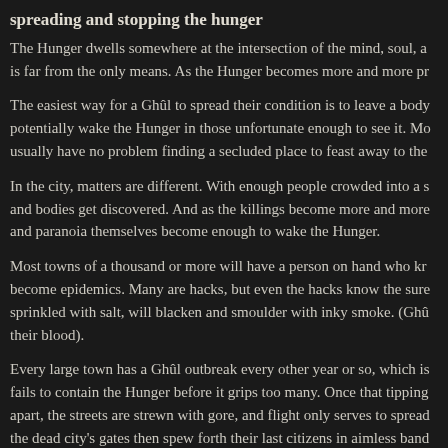spreading and stopping the hunger
The Hunger dwells somewhere at the intersection of the mind, soul, a is far from the only means. As the Hunger becomes more and more pr
The easiest way for a Ghûl to spread their condition is to leave a body potentially wake the Hunger in those unfortunate enough to see it. Mo usually have no problem finding a secluded place to feast away to the
In the city, matters are different. With enough people crowded into a s and bodies get discovered. And as the killings become more and more and paranoia themselves become enough to wake the Hunger.
Most towns of a thousand or more will have a person on hand who kr become epidemics. Many are hacks, but even the hacks know the sure sprinkled with salt, will blacken and smoulder with inky smoke. (Ghû their blood).
Every large town has a Ghûl outbreak every other year or so, which is fails to contain the Hunger before it grips too many. Once that tipping apart, the streets are strewn with gore, and flight only serves to spread the dead city's gates then spew forth their last citizens in aimless band